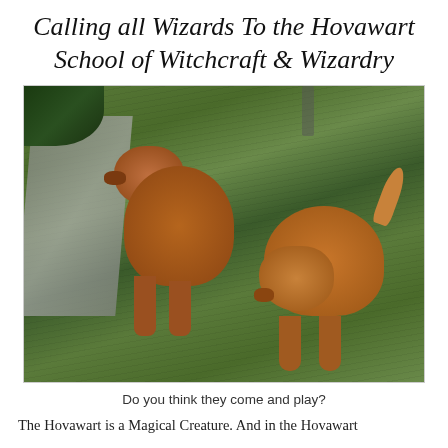Calling all Wizards To the Hovawart School of Witchcraft & Wizardry
[Figure (photo): Two golden/Hovawart dogs standing on a green grass lawn, viewed from above at an angle. The dog on the left is slightly larger and darker, the dog on the right is lighter golden. There is a grey deck or patio visible on the left side and some dark green hedge in the upper left.]
Do you think they come and play?
The Hovawart is a Magical Creature. And in the Hovawart